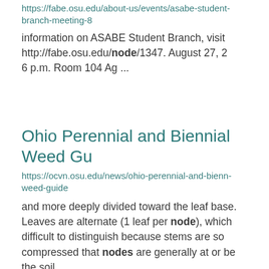https://fabe.osu.edu/about-us/events/asabe-student-branch-meeting-8
information on ASABE Student Branch, visit http://fabe.osu.edu/node/1347. August 27, 2 6 p.m. Room 104 Ag ...
Ohio Perennial and Biennial Weed Gu
https://ocvn.osu.edu/news/ohio-perennial-and-bienn-weed-guide
and more deeply divided toward the leaf base. Leaves are alternate (1 leaf per node), which difficult to distinguish because stems are so compressed that nodes are generally at or be the soil ...